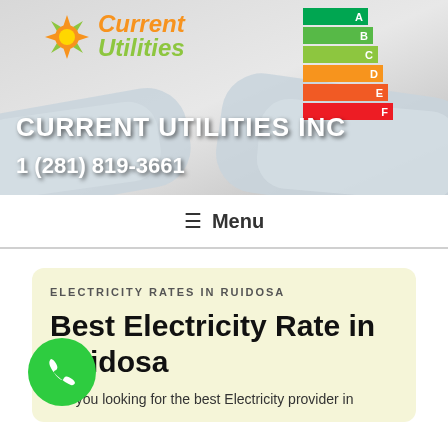[Figure (screenshot): Header banner with Current Utilities Inc logo (sun icon, orange 'Current' and green 'Utilities' text), energy rating bars A-F in green-to-red, blueprint rolls in background, company name 'CURRENT UTILITIES INC' and phone '1 (281) 819-3661' in white text]
☰ Menu
ELECTRICITY RATES IN RUIDOSA
Best Electricity Rate in Ruidosa
Are you looking for the best Electricity provider in